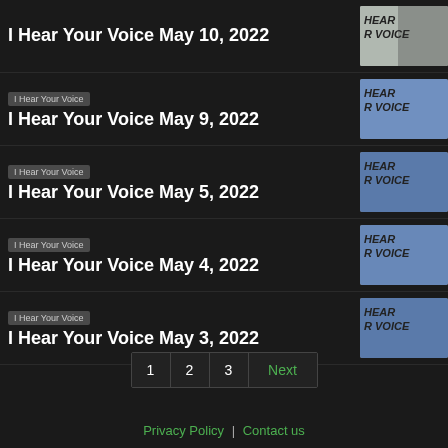I Hear Your Voice May 10, 2022
I Hear Your Voice May 9, 2022
I Hear Your Voice May 5, 2022
I Hear Your Voice May 4, 2022
I Hear Your Voice May 3, 2022
1  2  3  Next
Privacy Policy | Contact us